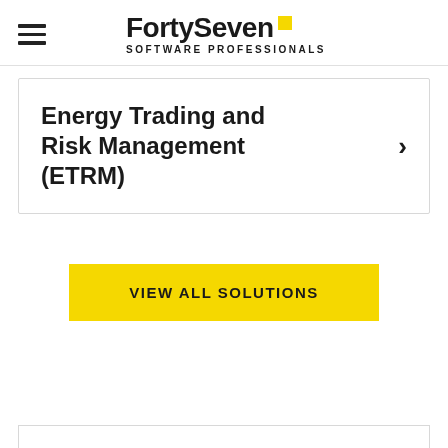FortySeven SOFTWARE PROFESSIONALS
Energy Trading and Risk Management (ETRM)
VIEW ALL SOLUTIONS